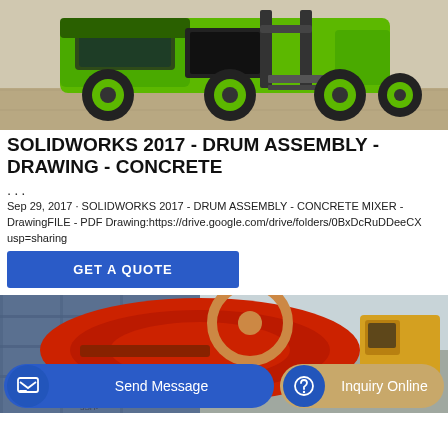[Figure (photo): Green heavy construction vehicle/concrete mixer truck viewed from front, on concrete surface]
SOLIDWORKS 2017 - DRUM ASSEMBLY - DRAWING - CONCRETE ...
Sep 29, 2017 · SOLIDWORKS 2017 - DRUM ASSEMBLY - CONCRETE MIXER - DrawingFILE - PDF Drawing:https://drive.google.com/drive/folders/0BxDcRuDDeeCX usp=sharing
GET A QUOTE
[Figure (photo): Red concrete mixer drum and construction equipment, with yellow construction vehicle visible in background]
Send Message
Inquiry Online